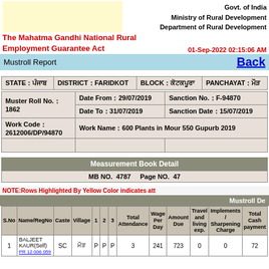Govt. of India
Ministry of Rural Development
Department of Rural Development
The Mahatma Gandhi National Rural Employment Guarantee Act
01-Sep-2022 02:15:06 AM
Mustroll Report
Back
| STATE | DISTRICT | BLOCK | PANCHAYAT |
| --- | --- | --- | --- |
| ਪੰਜਾਬ | FARIDKOT | ਕੋਟਕਪੂਰਾ | ਮੌੜ |
| Muster Roll No. | Date From / Date To | Sanction No. / Sanction Date |
| --- | --- | --- |
| 1862 | 29/07/2019 / 31/07/2019 | F-94870 / 15/07/2019 |
| Work Code | Work Name |
| --- | --- |
| 2612006/DP/94870 | 600 Plants in Mour 550 Gupurb 2019 |
Measurement Book Detail
MB NO.  4787    Page NO.  47
NOTE:Rows Highlighted By Yellow Color indicates att
Mustroll De
| S.No | Name/RegNo | Caste | Village | 1 | 2 | 3 | Total Attendance | Wage Per Day | Amount Due | Travel and living exp. | Implements / Sharpening Charge | Total Cash payment |
| --- | --- | --- | --- | --- | --- | --- | --- | --- | --- | --- | --- | --- |
| 1 | BALJEET KAUR(Self)
PR 12 006 059 | SC | ਮੌੜ | P | P | P | 3 | 241 | 723 | 0 | 0 | 72 |